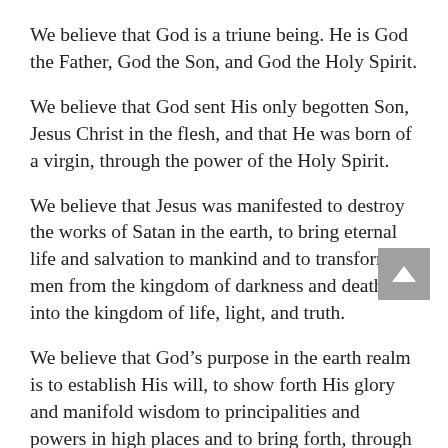We believe that God is a triune being. He is God the Father, God the Son, and God the Holy Spirit.
We believe that God sent His only begotten Son, Jesus Christ in the flesh, and that He was born of a virgin, through the power of the Holy Spirit.
We believe that Jesus was manifested to destroy the works of Satan in the earth, to bring eternal life and salvation to mankind and to transform men from the kingdom of darkness and death into the kingdom of life, light, and truth.
We believe that God’s purpose in the earth realm is to establish His will, to show forth His glory and manifold wisdom to principalities and powers in high places and to bring forth, through Faith (which is the operation of